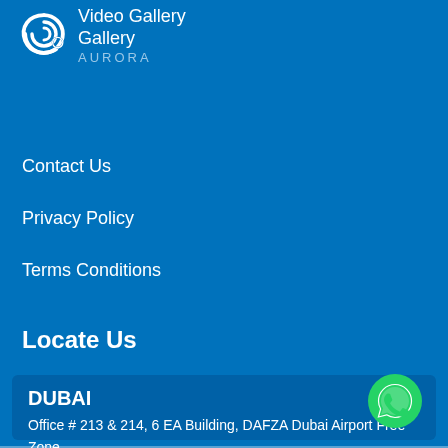[Figure (logo): Spiral/swirl logo with text 'Video Gallery', 'Gallery', 'AURORA' overlaid]
Video Gallery
Gallery
Contact Us
Privacy Policy
Terms Conditions
Locate Us
DUBAI
Office # 213 & 214, 6 EA Building, DAFZA Dubai Airport Free Zone
PO Box: 371473
+971 425 04150
+971 504 825561